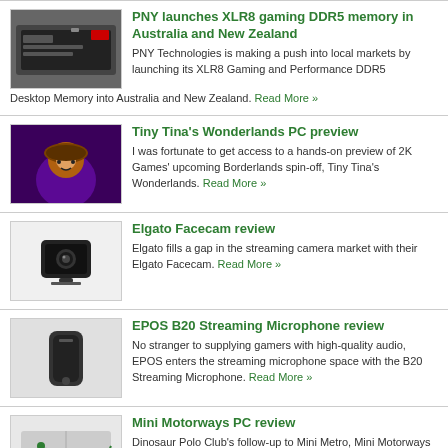PNY launches XLR8 gaming DDR5 memory in Australia and New Zealand — PNY Technologies is making a push into local markets by launching its XLR8 Gaming and Performance DDR5 Desktop Memory into Australia and New Zealand. Read More »
Tiny Tina's Wonderlands PC preview — I was fortunate to get access to a hands-on preview of 2K Games' upcoming Borderlands spin-off, Tiny Tina's Wonderlands. Read More »
Elgato Facecam review — Elgato fills a gap in the streaming camera market with their Elgato Facecam. Read More »
EPOS B20 Streaming Microphone review — No stranger to supplying gamers with high-quality audio, EPOS enters the streaming microphone space with the B20 Streaming Microphone. Read More »
Mini Motorways PC review — Dinosaur Polo Club's follow-up to Mini Metro, Mini Motorways has added Wellington, NZ to the list of cities ... Read More »